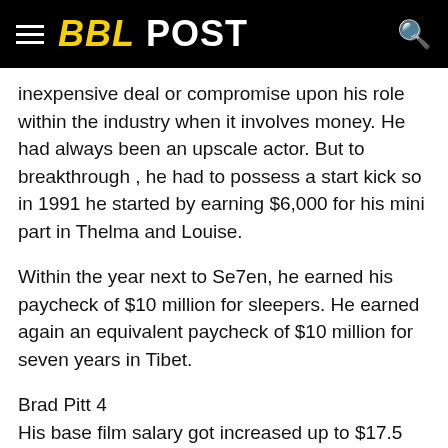BBL POST
inexpensive deal or compromise upon his role within the industry when it involves money. He had always been an upscale actor. But to breakthrough , he had to possess a start kick so in 1991 he started by earning $6,000 for his mini part in Thelma and Louise.
Within the year next to Se7en, he earned his paycheck of $10 million for sleepers. He earned again an equivalent paycheck of $10 million for seven years in Tibet.
Brad Pitt 4
His base film salary got increased up to $17.5 million by the late 1990s. He earned this lucre for his add Meet Joe Black, Fight Club, Spy Game, and Troy. For one among his highly-rated films – Mr. and Mrs. Smith, he earned $20 million for that and another 20 million